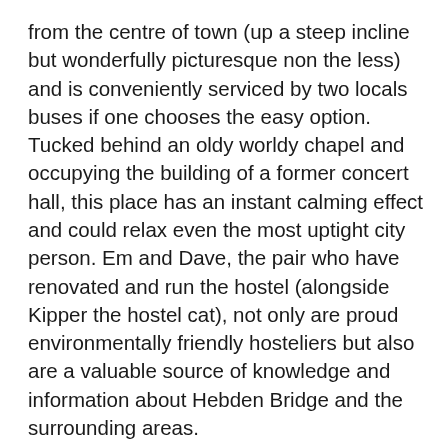from the centre of town (up a steep incline but wonderfully picturesque non the less) and is conveniently serviced by two locals buses if one chooses the easy option. Tucked behind an oldy worldy chapel and occupying the building of a former concert hall, this place has an instant calming effect and could relax even the most uptight city person. Em and Dave, the pair who have renovated and run the hostel (alongside Kipper the hostel cat), not only are proud environmentally friendly hosteliers but also are a valuable source of knowledge and information about Hebden Bridge and the surrounding areas.